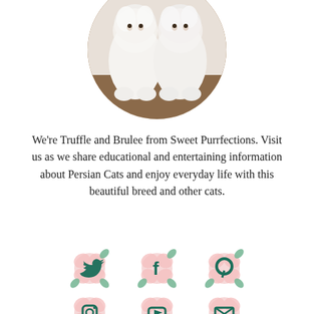[Figure (photo): Circular cropped photo of two white Persian cats sitting side by side on a brown surface]
We're Truffle and Brulee from Sweet Purrfections. Visit us as we share educational and entertaining information about Persian Cats and enjoy everyday life with this beautiful breed and other cats.
[Figure (infographic): Row of three social media icons (Twitter, Facebook, Pinterest) decorated with pink floral/rose motifs in green-teal color scheme]
[Figure (infographic): Row of three social media icons (Instagram, YouTube, Email/envelope) decorated with pink floral/rose motifs in green-teal color scheme]